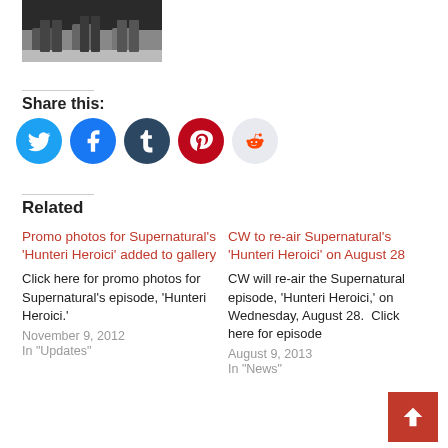[Figure (photo): Cropped photo showing lower portion of people's legs and feet on a floor, dark background]
Share this:
[Figure (infographic): Row of social sharing icon buttons: Twitter (blue), Facebook (blue), Tumblr (dark blue), Pinterest (red), Reddit (light gray)]
Related
Promo photos for Supernatural's 'Hunteri Heroici' added to gallery
Click here for promo photos for Supernatural's episode, 'Hunteri Heroici.'
November 9, 2012
In "Updates"
CW to re-air Supernatural's 'Hunteri Heroici' on August 28
CW will re-air the Supernatural episode, 'Hunteri Heroici,' on Wednesday, August 28.  Click here for episode
August 9, 2013
In "News"